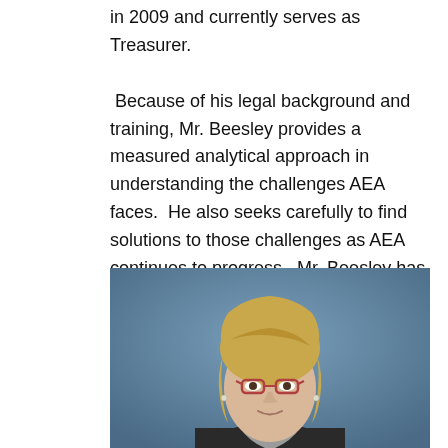in 2009 and currently serves as Treasurer.  Because of his legal background and training, Mr. Beesley provides a measured analytical approach in understanding the challenges AEA faces.  He also seeks carefully to find solutions to those challenges as AEA continues to progress.  Mr. Beesley has been a long-time AEA parent, and consequently has a personally vested interest in ensuring that AEA continues to provide the best education possible for all students.
[Figure (photo): Portrait photo of a woman with blonde hair, glasses, and a scarf, against a blue background.]